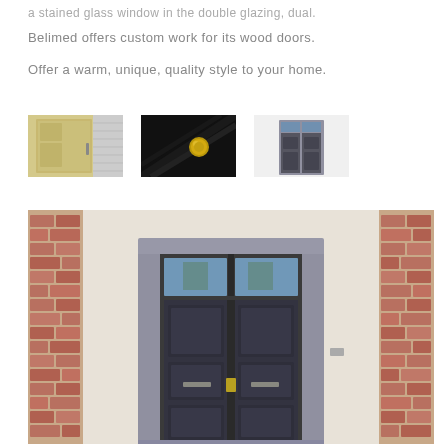a stained glass window in the double glazing, dual.
Belimed offers custom work for its wood doors.
Offer a warm, unique, quality style to your home.
[Figure (photo): Three small photos showing: 1) A yellow/tan wooden door with handle, 2) A close-up of a brass door knob on a dark door, 3) An exterior view of a dark double door.]
[Figure (photo): Large photo of a dark double entry door with glass panels above, set in a stone/concrete surround with brick walls on either side, beige stucco facade.]